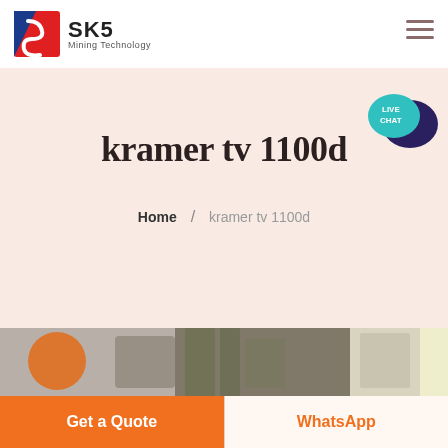[Figure (logo): SKS Mining Technology logo with red and blue angular shield icon, company name SKS in bold and subtitle Mining Technology]
[Figure (illustration): Hamburger menu icon (three horizontal lines) in dark brownish-red color in top right corner]
[Figure (illustration): Live Chat speech bubble icon in teal/cyan with dark blue chat icon overlay, positioned top right over hero banner]
kramer tv 1100d
Home / kramer tv 1100d
[Figure (photo): Partial image strip showing industrial or mining equipment photos, partially visible at bottom of hero section]
Get a Quote
WhatsApp